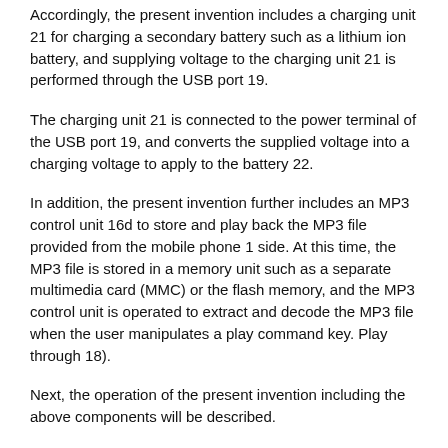Accordingly, the present invention includes a charging unit 21 for charging a secondary battery such as a lithium ion battery, and supplying voltage to the charging unit 21 is performed through the USB port 19.
The charging unit 21 is connected to the power terminal of the USB port 19, and converts the supplied voltage into a charging voltage to apply to the battery 22.
In addition, the present invention further includes an MP3 control unit 16d to store and play back the MP3 file provided from the mobile phone 1 side. At this time, the MP3 file is stored in a memory unit such as a separate multimedia card (MMC) or the flash memory, and the MP3 control unit is operated to extract and decode the MP3 file when the user manipulates a play command key. Play through 18).
Next, the operation of the present invention including the above components will be described.
When a playback control command for video / audio information is transmitted from the second Bluetooth module 15 of the cellular phone auxiliary device 10 to the first Bluetooth module 2 of the cellular phone 1 according